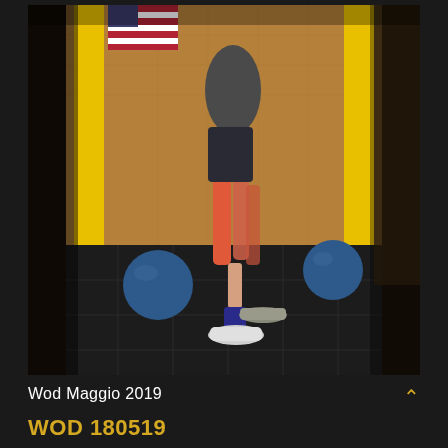[Figure (photo): A person standing in a CrossFit gym wearing dark shorts, red/coral compression tights, blue socks, and white sneakers. Blue medicine balls are on the black rubber floor. Yellow structural columns and plywood walls visible. An American flag is partially visible in the upper left. The gym has dark rubber flooring with square tile pattern.]
Wod Maggio 2019
WOD 180519